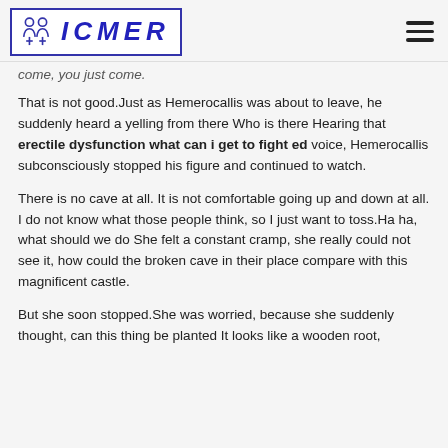ICMER
come, you just come.
That is not good.Just as Hemerocallis was about to leave, he suddenly heard a yelling from there Who is there Hearing that erectile dysfunction what can i get to fight ed voice, Hemerocallis subconsciously stopped his figure and continued to watch.
There is no cave at all. It is not comfortable going up and down at all. I do not know what those people think, so I just want to toss.Ha ha, what should we do She felt a constant cramp, she really could not see it, how could the broken cave in their place compare with this magnificent castle.
But she soon stopped.She was worried, because she suddenly thought, can this thing be planted It looks like a wooden root,